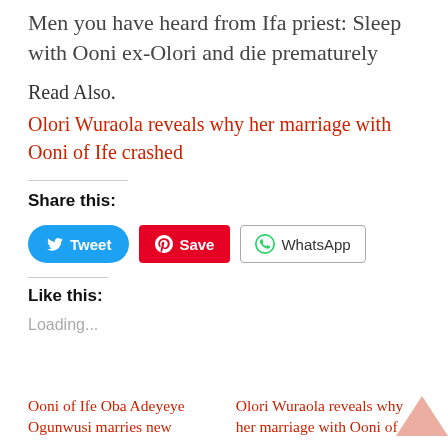Men you have heard from Ifa priest: Sleep with Ooni ex-Olori and die prematurely
Read Also.
Olori Wuraola reveals why her marriage with Ooni of Ife crashed
Share this:
[Figure (other): Social share buttons: Tweet (Twitter), Save (Pinterest), WhatsApp]
Like this:
Loading...
Ooni of Ife Oba Adeyeye Ogunwusi marries new
Olori Wuraola reveals why her marriage with Ooni of